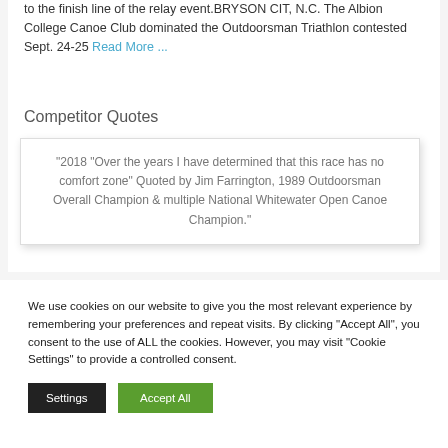to the finish line of the relay event.BRYSON CIT, N.C. The Albion College Canoe Club dominated the Outdoorsman Triathlon contested Sept. 24-25 Read More ...
Competitor Quotes
"2018 “Over the years I have determined that this race has no comfort zone” Quoted by Jim Farrington, 1989 Outdoorsman Overall Champion & multiple National Whitewater Open Canoe Champion."
We use cookies on our website to give you the most relevant experience by remembering your preferences and repeat visits. By clicking “Accept All”, you consent to the use of ALL the cookies. However, you may visit "Cookie Settings" to provide a controlled consent.
Settings
Accept All